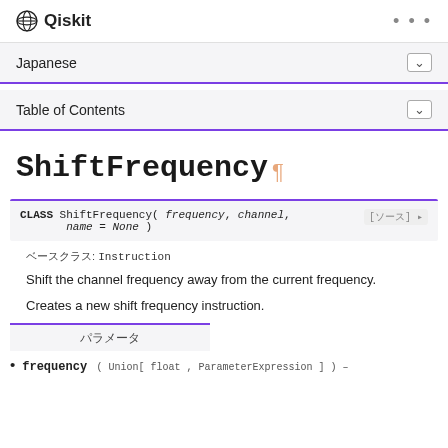Qiskit
Japanese
Table of Contents
ShiftFrequency
CLASS ShiftFrequency( frequency, channel, name = None )
ベースクラス: Instruction
Shift the channel frequency away from the current frequency.
Creates a new shift frequency instruction.
パラメータ
frequency ( Union[ float , ParameterExpression ] ) –